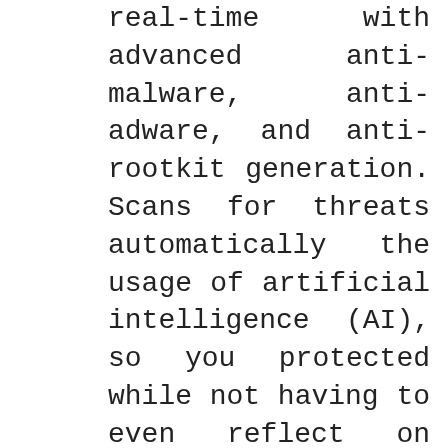real-time with advanced anti-malware, anti-adware, and anti-rootkit generation. Scans for threats automatically the usage of artificial intelligence (AI), so you protected while not having to even reflect on consideration on it.
It Can Stops unknown and recognized ransomware with the proprietary subsequent-gen era that works proactively to protect your documents.
This Software is valid, complete protection that blocks ransomware, and no longer a simple decryption device. So you've covered from the following day's Ransomware Attack headlines these days.